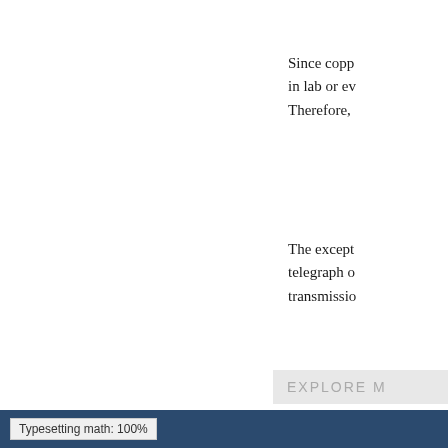Since copp… in lab or ev… Therefore,
The except… telegraph o… transmissio…
EXPLORE M
Typesetting math: 100%